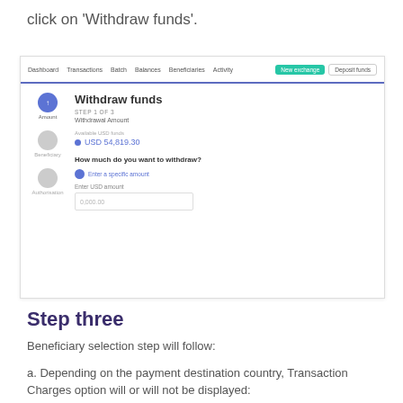click on 'Withdraw funds'.
[Figure (screenshot): Screenshot of a web application showing a 'Withdraw funds' dialog. Navigation bar at top with Dashboard, Transactions, Batch, Balances, Beneficiaries, Activity links and 'New exchange' and 'Deposit funds' buttons. The form shows STEP 1 OF 3: Withdrawal Amount. Available USD funds: USD 54,819.30. A question 'How much do you want to withdraw?' with radio option 'Enter a specific amount' and an 'Enter USD amount' text field with placeholder '0,000.00'. A three-step sidebar shows Amount (active/blue), Beneficiary (grey), Authorisation (grey).]
Step three
Beneficiary selection step will follow:
a. Depending on the payment destination country, Transaction Charges option will or will not be displayed: